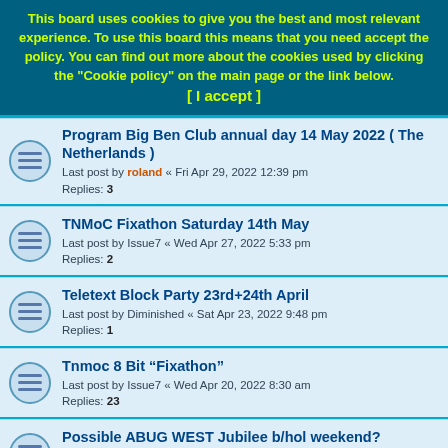This board uses cookies to give you the best and most relevant experience. To use this board this means that you need accept the policy. You can find out more about the cookies used by clicking the "Cookie policy" on the main page or the link below. [ I accept ]
Program Big Ben Club annual day 14 May 2022 ( The Netherlands ) — Last post by roland « Fri Apr 29, 2022 12:39 pm — Replies: 3
TNMoC Fixathon Saturday 14th May — Last post by Issue7 « Wed Apr 27, 2022 5:33 pm — Replies: 2
Teletext Block Party 23rd+24th April — Last post by Diminished « Sat Apr 23, 2022 9:48 pm — Replies: 1
Tnmoc 8 Bit “Fixathon” — Last post by Issue7 « Wed Apr 20, 2022 8:30 am — Replies: 23
Possible ABUG WEST Jubilee b/hol weekend? — Last post by JudgeBeeb « Mon Mar 28, 2022 9:57 am — Replies: 3
Workshop support tutors wanted for Educraft's "Get Animated" BBC BASIC workshops, 11-14 April 2022 — Last post by Arcadian « Wed Mar 23, 2022 11:29 pm
The Mystery of the Dodleston Messages